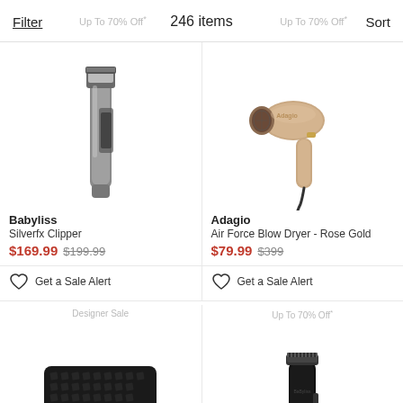Filter   Up To 70% Off*   246 items   Up To 70% Off*   Sort
[Figure (photo): Babyliss Silverfx Clipper product image - silver metallic hair clipper]
Babyliss
Silverfx Clipper
$169.99 $199.99
Get a Sale Alert
[Figure (photo): Adagio Air Force Blow Dryer in Rose Gold color]
Adagio
Air Force Blow Dryer - Rose Gold
$79.99 $399
Get a Sale Alert
[Figure (photo): Tweezerman nail clipper product - black with silver metal]
[Figure (photo): Black hair trimmer product image]